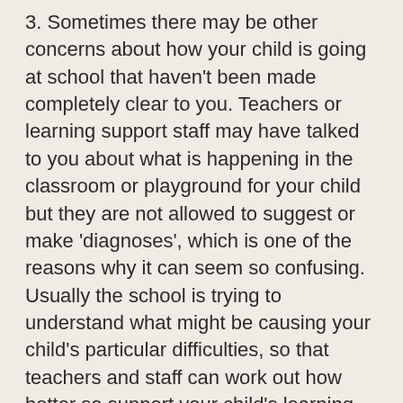3. Sometimes there may be other concerns about how your child is going at school that haven't been made completely clear to you. Teachers or learning support staff may have talked to you about what is happening in the classroom or playground for your child but they are not allowed to suggest or make 'diagnoses', which is one of the reasons why it can seem so confusing. Usually the school is trying to understand what might be causing your child's particular difficulties, so that teachers and staff can work out how better so support your child's learning and experience of school.
What you can do:
1. Ask the school to document very clearly their concerns (ie a summary) as well as some observations from both the classroom and playground.
2. Ask the school to explain what the teacher and other support staff are doing to help your child in the areas of concern and whether your child has been referred to any